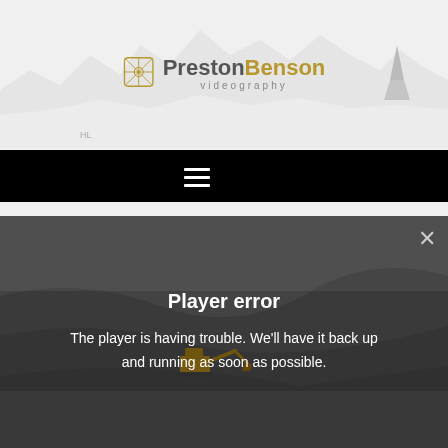[Figure (logo): PrestonBenson Videography logo with decorative geometric icon on a light grey mountain/landscape background]
≡ Menu
[Figure (screenshot): Video player showing an aerial view of a construction site with an excavator, displaying a 'Player error' overlay with close button]
Player error
The player is having trouble. We'll have it back up and running as soon as possible.